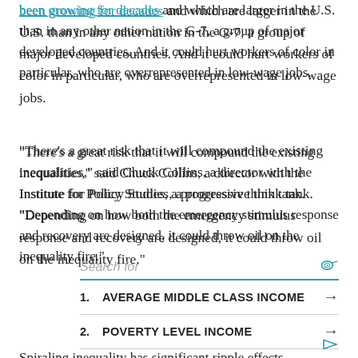been growing for decades and which are larger in the U.S. than in any other nation in the G-7, a group of major developed countries. And it could hurt workers of color in particular, who are overrepresented in low-wage jobs.
“There’s a great risk that it will compound the existing inequalities,” said Chuck Collins, a director with the Institute for Policy Studies, a progressive think tank. “Depending on how both the emergency stimulus response and recovery are designed, it could throw oil on the inequality fire.”
Spiraling inequality has significant ripple effects, economists say, and could contribute to political and financial instability in the country while worsening the economic recession. Moody’s, the credit ratings
1. AVERAGE MIDDLE CLASS INCOME
2. POVERTY LEVEL INCOME